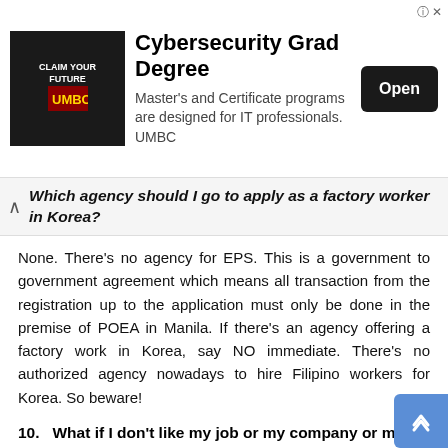[Figure (other): Advertisement banner for Cybersecurity Grad Degree at UMBC with an 'Open' button]
Which agency should I go to apply as a factory worker in Korea?
None. There’s no agency for EPS. This is a government to government agreement which means all transaction from the registration up to the application must only be done in the premise of POEA in Manila. If there’s an agency offering a factory work in Korea, say NO immediate. There’s no authorized agency nowadays to hire Filipino workers for Korea. So beware!
10.   What if I don’t like my job or my company or my boss? What should I do?
There’s this thing called RELEASE. However, there are only three qualifications for a Release. First is if your company filed bankruptcy, second if you were verbally abused, and third if you